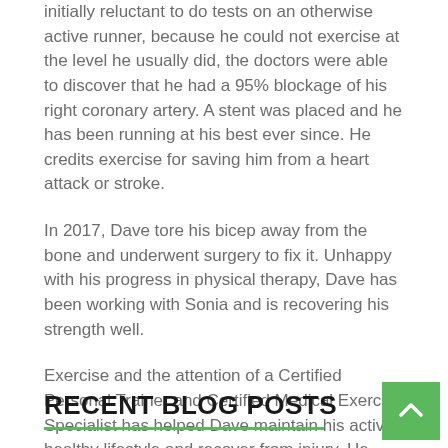initially reluctant to do tests on an otherwise active runner, because he could not exercise at the level he usually did, the doctors were able to discover that he had a 95% blockage of his right coronary artery. A stent was placed and he has been running at his best ever since. He credits exercise for saving him from a heart attack or stroke.
In 2017, Dave tore his bicep away from the bone and underwent surgery to fix it. Unhappy with his progress in physical therapy, Dave has been working with Sonia and is recovering his strength well.
Exercise and the attention of a Certified Personal Trainer and Certified Medical Exercise Specialist has helped Dave maintain his active, healthy lifestyle and recover from injury. He recently completed a leg of the Akron Marathon Relay, and we are certain will log many hours on the treadmill this winter.
Read Full Spotlight
RECENT BLOG POSTS